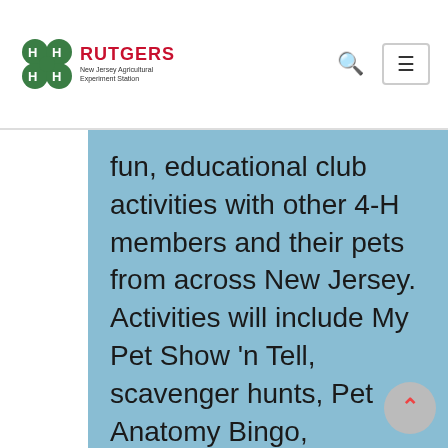4-H Rutgers — New Jersey Agricultural Experiment Station
fun, educational club activities with other 4-H members and their pets from across New Jersey. Activities will include My Pet Show 'n Tell, scavenger hunts, Pet Anatomy Bingo, Herpetology 411, Pet Pyramid, Get to Know